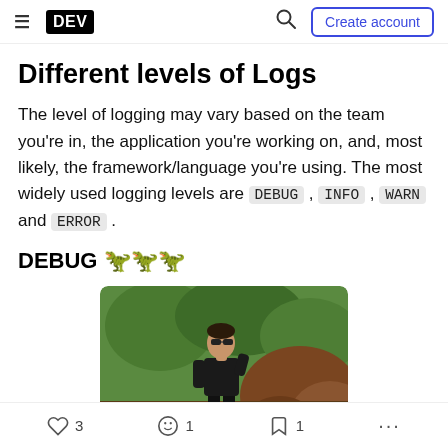DEV — Create account
Different levels of Logs
The level of logging may vary based on the team you're in, the application you're working on, and, most likely, the framework/language you're using. The most widely used logging levels are DEBUG, INFO, WARN and ERROR.
DEBUG 🦖
[Figure (photo): A man wearing sunglasses and dark clothing standing outdoors in a natural setting with green foliage and brown rocky soil.]
3 likes   1 unicorn   1 bookmark   more options